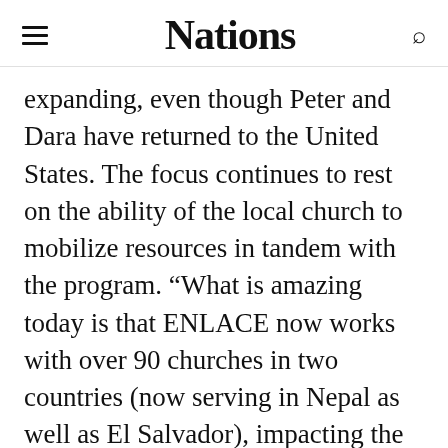Nations
expanding, even though Peter and Dara have returned to the United States. The focus continues to rest on the ability of the local church to mobilize resources in tandem with the program. “What is amazing today is that ENLACE now works with over 90 churches in two countries (now serving in Nepal as well as El Salvador), impacting the lives of over 500,000 people through the work of local churches.”